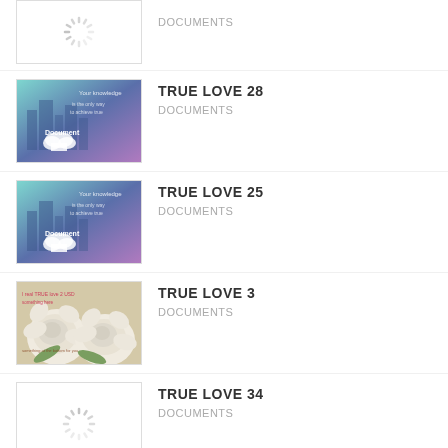[Figure (screenshot): Loading spinner thumbnail - first item (partially visible at top)]
DOCUMENTS
[Figure (screenshot): City skyline with document cloud overlay - TRUE LOVE 28]
TRUE LOVE 28
DOCUMENTS
[Figure (screenshot): City skyline with document cloud overlay - TRUE LOVE 25]
TRUE LOVE 25
DOCUMENTS
[Figure (photo): White roses photo - TRUE LOVE 3]
TRUE LOVE 3
DOCUMENTS
[Figure (screenshot): Loading spinner thumbnail - TRUE LOVE 34]
TRUE LOVE 34
DOCUMENTS
[Figure (screenshot): Loading spinner thumbnail - TRUE LOVE 37 (partially visible at bottom)]
TRUE LOVE 37